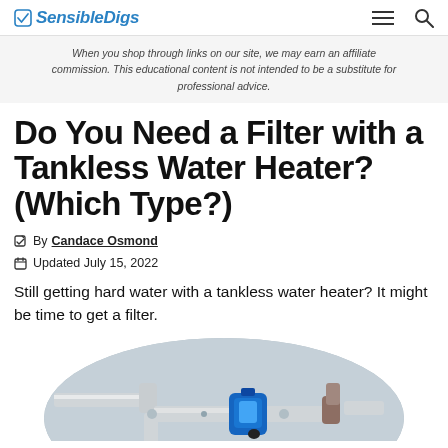SensibleDigs
When you shop through links on our site, we may earn an affiliate commission. This educational content is not intended to be a substitute for professional advice.
Do You Need a Filter with a Tankless Water Heater? (Which Type?)
By Candace Osmond
Updated July 15, 2022
Still getting hard water with a tankless water heater? It might be time to get a filter.
[Figure (photo): Photo of plumbing pipes and a blue water filter valve connector, shown in an oval-cropped image]